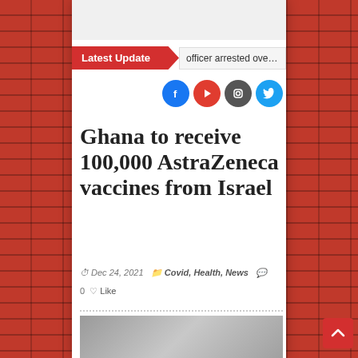Latest Update: officer arrested over A...
Ghana to receive 100,000 AstraZeneca vaccines from Israel
Dec 24, 2021   Covid, Health, News   0  Like
[Figure (photo): Photo of people in an office or meeting setting]
[Figure (illustration): Scroll to top button with up arrow]